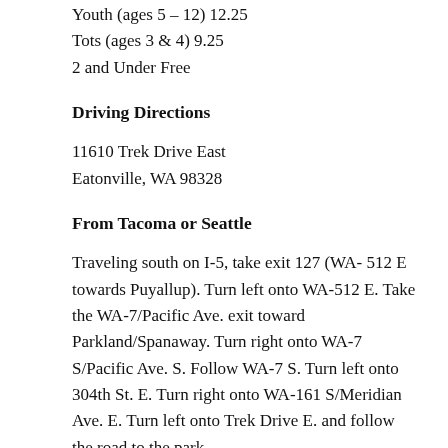Youth (ages 5 – 12) 12.25
Tots (ages 3 & 4) 9.25
2 and Under Free
Driving Directions
11610 Trek Drive East
Eatonville, WA 98328
From Tacoma or Seattle
Traveling south on I-5, take exit 127 (WA- 512 E towards Puyallup). Turn left onto WA-512 E. Take the WA-7/Pacific Ave. exit toward Parkland/Spanaway. Turn right onto WA-7 S/Pacific Ave. S. Follow WA-7 S. Turn left onto 304th St. E. Turn right onto WA-161 S/Meridian Ave. E. Turn left onto Trek Drive E. and follow the road to the park.
From Olympia
Traveling north on I-5, take exit 111 and go east on SR 510. Follow SR 510 for about 16 miles to Yelm. In Yelm, SR 510 becomes SR 507. Continue straight through Yelm on SR 507